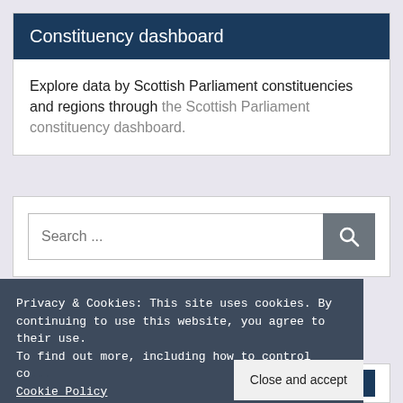Constituency dashboard
Explore data by Scottish Parliament constituencies and regions through the Scottish Parliament constituency dashboard.
[Figure (screenshot): Search input box with placeholder text 'Search ...' and a grey search button with magnifying glass icon]
Privacy & Cookies: This site uses cookies. By continuing to use this website, you agree to their use.
To find out more, including how to control co... Cookie Policy
Close and accept
Tweets from
Follow